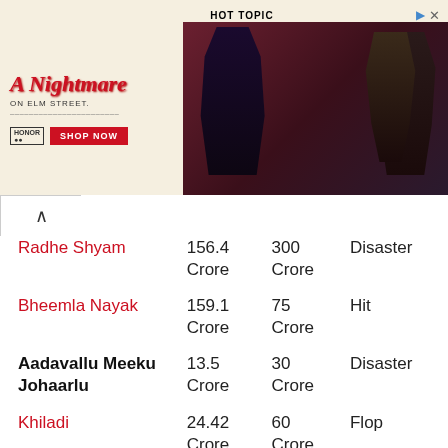[Figure (photo): Hot Topic advertisement for A Nightmare on Elm Street merchandise. Left side has red cursive text on beige background with 'SHOP NOW' button. Right side shows two dark-dressed figures against dark red background.]
| Movie | Collection | Budget | Verdict |
| --- | --- | --- | --- |
| Radhe Shyam | 156.4 Crore | 300 Crore | Disaster |
| Bheemla Nayak | 159.1 Crore | 75 Crore | Hit |
| Aadavallu Meeku Johaarlu | 13.5 Crore | 30 Crore | Disaster |
| Khiladi | 24.42 Crore | 60 Crore | Flop |
| DJ Till... | 30.3 | 20 | Super Hit |